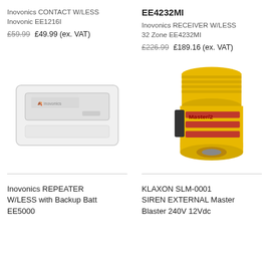Inovonics CONTACT W/LESS Inovonic EE1216I
£59.99  £49.99 (ex. VAT)
EE4232MI
Inovonics RECEIVER W/LESS 32 Zone EE4232MI
£226.99  £189.16 (ex. VAT)
[Figure (photo): White Inovonics wireless contact panel device]
[Figure (photo): Yellow Klaxon Master Blaster external siren with red light grilles]
Inovonics REPEATER W/LESS with Backup Batt EE5000
KLAXON SLM-0001 SIREN EXTERNAL Master Blaster 240V 12Vdc